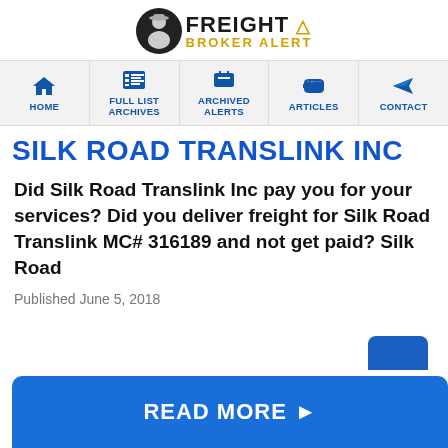[Figure (logo): Freight Broker Alert logo with silhouette figure icon, bold FREIGHT text, and BROKER ALERT in gold, with warning triangle]
HOME | FULL LIST ARCHIVES | ARCHIVED ALERTS | ARTICLES | CONTACT
SILK ROAD TRANSLINK INC
Did Silk Road Translink Inc pay you for your services? Did you deliver freight for Silk Road Translink MC# 316189 and not get paid? Silk Road
Published June 5, 2018
[Figure (other): READ MORE button in blue with right arrow]